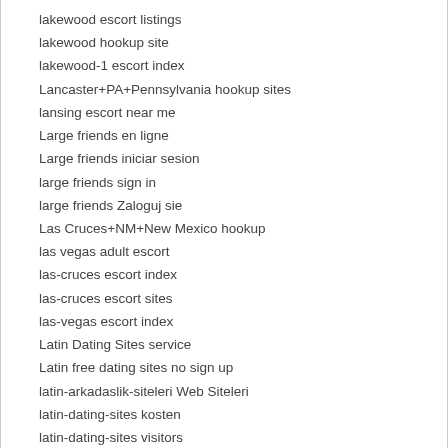lakewood escort listings
lakewood hookup site
lakewood-1 escort index
Lancaster+PA+Pennsylvania hookup sites
lansing escort near me
Large friends en ligne
Large friends iniciar sesion
large friends sign in
large friends Zaloguj sie
Las Cruces+NM+New Mexico hookup
las vegas adult escort
las-cruces escort index
las-cruces escort sites
las-vegas escort index
Latin Dating Sites service
Latin free dating sites no sign up
latin-arkadaslik-siteleri Web Siteleri
latin-dating-sites kosten
latin-dating-sites visitors